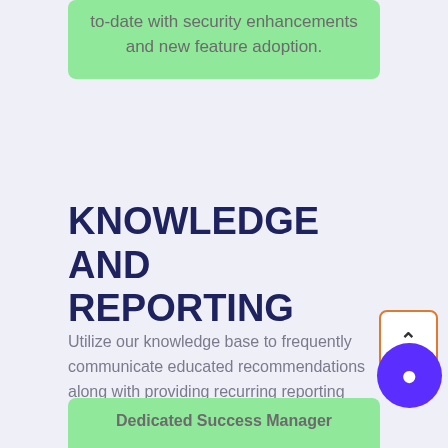to-date with security enhancements and new feature adoption.
KNOWLEDGE AND REPORTING
Utilize our knowledge base to frequently communicate educated recommendations along with providing recurring reporting
Dedicated Success Manager